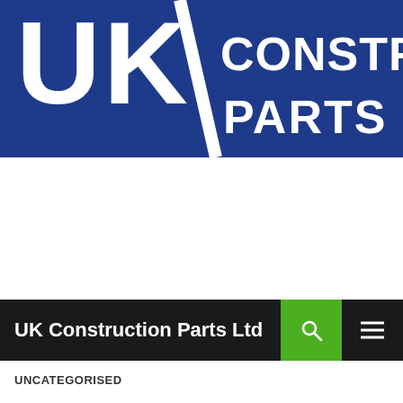[Figure (logo): UK Construction Parts Ltd logo — white bold lettering 'UK' and 'CONSTRUCTION PARTS LTD' on a dark navy/blue background]
UK Construction Parts Ltd
UNCATEGORISED